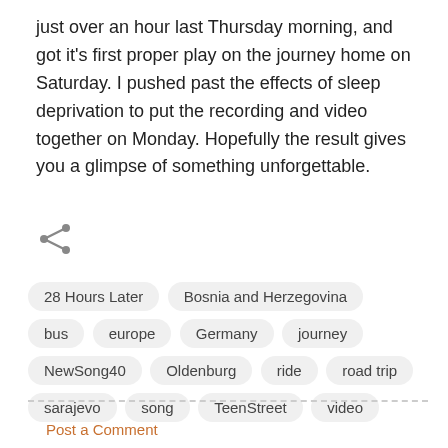just over an hour last Thursday morning, and got it's first proper play on the journey home on Saturday. I pushed past the effects of sleep deprivation to put the recording and video together on Monday. Hopefully the result gives you a glimpse of something unforgettable.
[Figure (other): Share icon (less-than shape with three dots)]
28 Hours Later
Bosnia and Herzegovina
bus
europe
Germany
journey
NewSong40
Oldenburg
ride
road trip
sarajevo
song
TeenStreet
video
Post a Comment